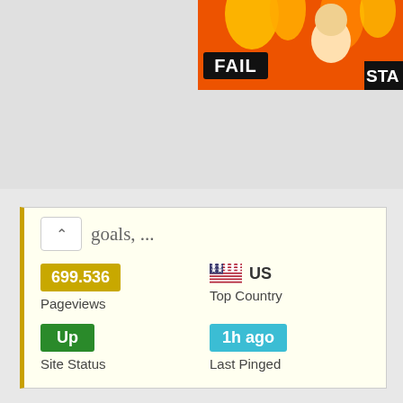[Figure (screenshot): Advertisement banner with FAIL text, cartoon woman with flame graphics, and partial STA text on black background]
goals, ...
[Figure (infographic): Website stats card showing: 699.536 Pageviews, US Top Country (with US flag), Up Site Status (green badge), 1h ago Last Pinged (cyan badge)]
[Figure (screenshot): Screenshot of Adidas miCoach mobile app website showing navigation bar, product listing with 151 compatible products, and miCoach mobile app icon]